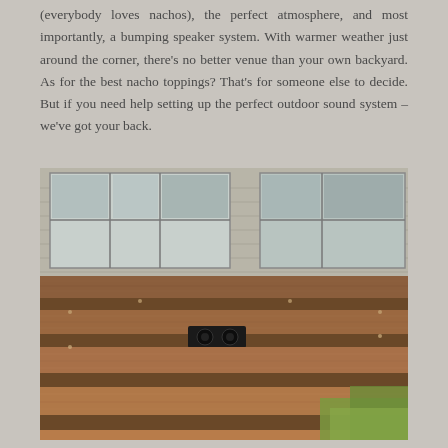(everybody loves nachos), the perfect atmosphere, and most importantly, a bumping speaker system. With warmer weather just around the corner, there's no better venue than your own backyard. As for the best nacho toppings? That's for someone else to decide. But if you need help setting up the perfect outdoor sound system – we've got your back.
[Figure (photo): A wooden deck with multiple steps/tiers made of warm brown stained wood, with a black speaker installed flush into one of the risers. The background shows a house with white-framed windows and light-colored siding. Green grass is visible in the lower right corner.]